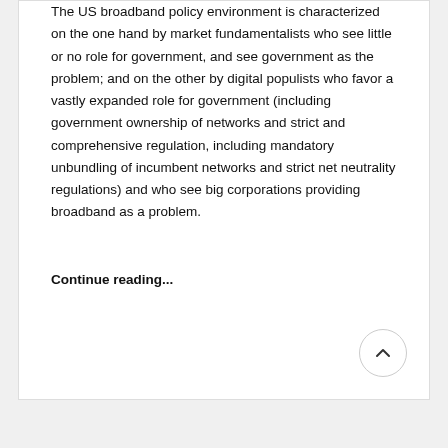The US broadband policy environment is characterized on the one hand by market fundamentalists who see little or no role for government, and see government as the problem; and on the other by digital populists who favor a vastly expanded role for government (including government ownership of networks and strict and comprehensive regulation, including mandatory unbundling of incumbent networks and strict net neutrality regulations) and who see big corporations providing broadband as a problem.
Continue reading...